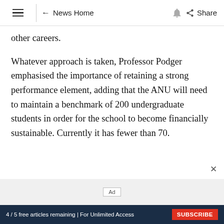≡  ← News Home  🔔  Share
other careers.
Whatever approach is taken, Professor Podger emphasised the importance of retaining a strong performance element, adding that the ANU will need to maintain a benchmark of 200 undergraduate students in order for the school to become financially sustainable. Currently it has fewer than 70.
4 / 5 free articles remaining | For Unlimited Access  SUBSCRIBE